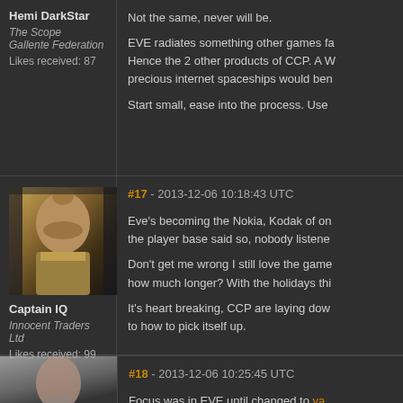Hemi DarkStar
The Scope
Gallente Federation
Likes received: 87
Not the same, never will be.
EVE radiates something other games fa... Hence the 2 other products of CCP. A W... precious internet spaceships would ben...
Start small, ease into the process. Use...
#17 - 2013-12-06 10:18:43 UTC
[Figure (photo): Forum avatar of Captain IQ, a sci-fi character portrait with bald head and futuristic armor]
Captain IQ
Innocent Traders Ltd
Likes received: 99
Eve's becoming the Nokia, Kodak of on... the player base said so, nobody listened...
Don't get me wrong I still love the game... how much longer? With the holidays thi...
It's heart breaking, CCP are laying dow... to how to pick itself up.
#18 - 2013-12-06 10:25:45 UTC
[Figure (photo): Forum avatar of another user, partial view]
Focus was in EVE until changed to ya...